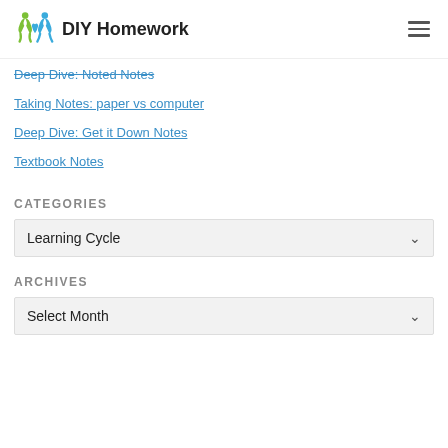DIY Homework
Deep Dive: Noted Notes
Taking Notes: paper vs computer
Deep Dive: Get it Down Notes
Textbook Notes
CATEGORIES
Learning Cycle
ARCHIVES
Select Month